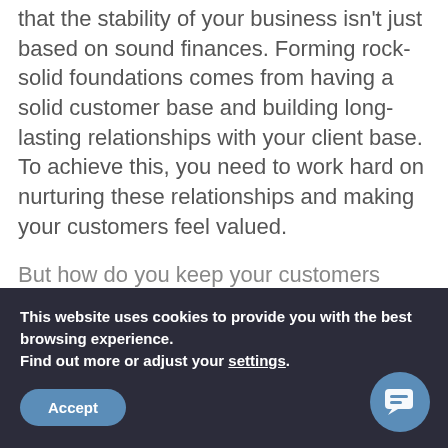The O'Mahoney Business Advisers team know that the stability of your business isn't just based on sound finances. Forming rock-solid foundations comes from having a solid customer base and building long-lasting relationships with your client base. To achieve this, you need to work hard on nurturing these relationships and making your customers feel valued.
But how do you keep your customers happy and satisfied? And what are the best ways to build and maintain a trusted and beneficial relationship with your client base?
This website uses cookies to provide you with the best browsing experience.
Find out more or adjust your settings.
Accept